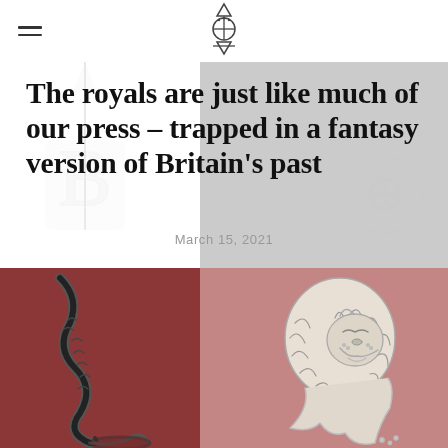The royals are just like much of our press – trapped in a fantasy version of Britain's past
March 15, 2021
[Figure (illustration): Heraldic illustration showing a stylized lion and serpent/dragon on a two-tone background of dark red and mauve-pink, representing British royal heraldic imagery. Watermark heraldic symbols appear in the background of the page.]